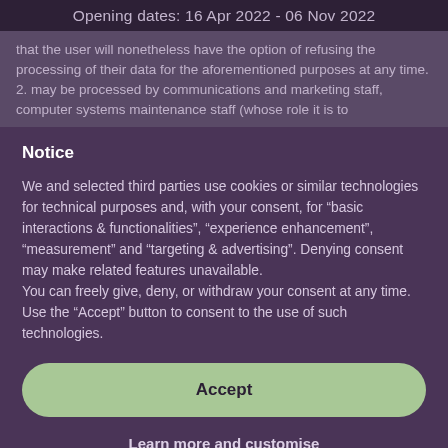Opening dates: 16 Apr 2022 - 06 Nov 2022
that the user will nonetheless have the option of refusing the processing of their data for the aforementioned purposes at any time.
2. may be processed by communications and marketing staff, computer systems maintenance staff (whose role it is to
Notice
We and selected third parties use cookies or similar technologies for technical purposes and, with your consent, for “basic interactions & functionalities”, “experience enhancement”, “measurement” and “targeting & advertising”. Denying consent may make related features unavailable.
You can freely give, deny, or withdraw your consent at any time.
Use the “Accept” button to consent to the use of such technologies.
Accept
Learn more and customise